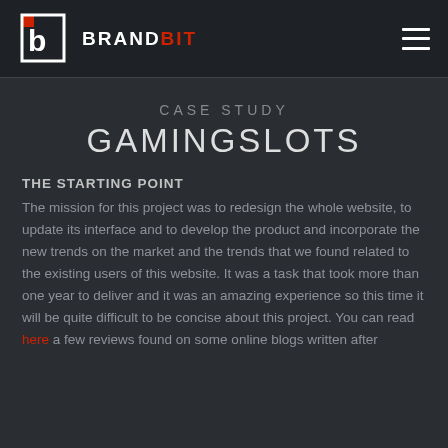BRANDBIT
CASE STUDY
GAMINGSLOTS
THE STARTING POINT
The mission for this project was to redesign the whole website, to update its interface and to develop the product and incorporate the new trends on the market and the trends that we found related to the existing users of this website. It was a task that took more than one year to deliver and it was an amazing experience so this time it will be quite difficult to be concise about this project. You can read here a few reviews found on some online blogs written after